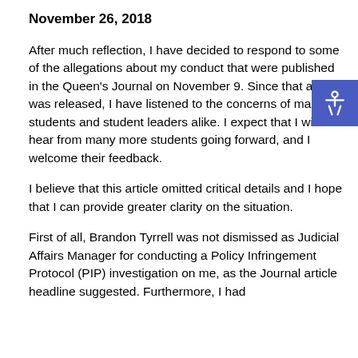November 26, 2018
After much reflection, I have decided to respond to some of the allegations about my conduct that were published in the Queen's Journal on November 9. Since that article was released, I have listened to the concerns of many students and student leaders alike. I expect that I will hear from many more students going forward, and I welcome their feedback.
I believe that this article omitted critical details and I hope that I can provide greater clarity on the situation.
First of all, Brandon Tyrrell was not dismissed as Judicial Affairs Manager for conducting a Policy Infringement Protocol (PIP) investigation on me, as the Journal article headline suggested. Furthermore, I had